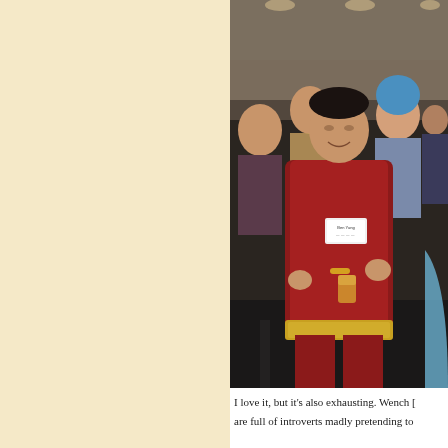[Figure (photo): A man wearing a red satin traditional outfit with gold trim and a name badge, holding a drink, standing in a crowded event venue. Other attendees are visible in the background, including a woman with blue hair.]
I love it, but it's also exhausting. Wench [... are full of introverts madly pretending to